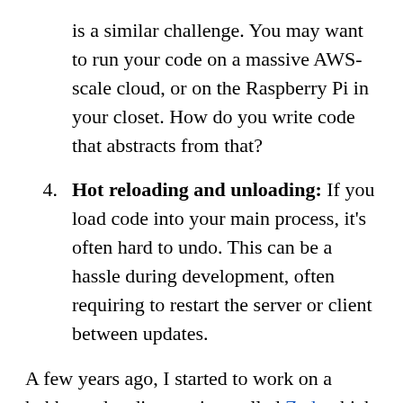is a similar challenge. You may want to run your code on a massive AWS-scale cloud, or on the Raspberry Pi in your closet. How do you write code that abstracts from that?
4. Hot reloading and unloading: If you load code into your main process, it's often hard to undo. This can be a hassle during development, often requiring to restart the server or client between updates.
A few years ago, I started to work on a hobby code editor project called Zed, which I ultimately abandoned after power houses